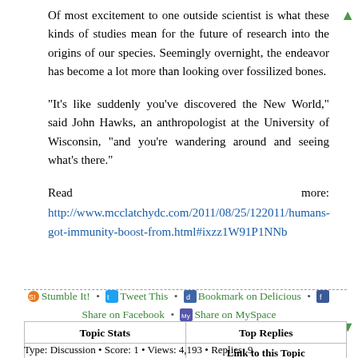Of most excitement to one outside scientist is what these kinds of studies mean for the future of research into the origins of our species. Seemingly overnight, the endeavor has become a lot more than looking over fossilized bones.
"It's like suddenly you've discovered the New World," said John Hawks, an anthropologist at the University of Wisconsin, "and you're wandering around and seeing what's there."
Read more: http://www.mcclatchydc.com/2011/08/25/122011/humans-got-immunity-boost-from.html#ixzz1W91P1NNb
Stumble It! • Tweet This • Bookmark on Delicious • Share on Facebook • Share on MySpace
| Topic Stats | Top Replies |
| --- | --- |
|  | Link to this Topic |
| Type: Discussion • Score: 1 • Views: 4,193 • Replies: 9 |  |